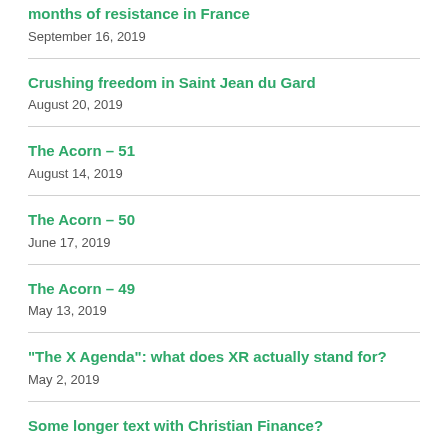months of resistance in France
September 16, 2019
Crushing freedom in Saint Jean du Gard
August 20, 2019
The Acorn – 51
August 14, 2019
The Acorn – 50
June 17, 2019
The Acorn – 49
May 13, 2019
"The X Agenda": what does XR actually stand for?
May 2, 2019
Some longer title beginning with Christian Finance?